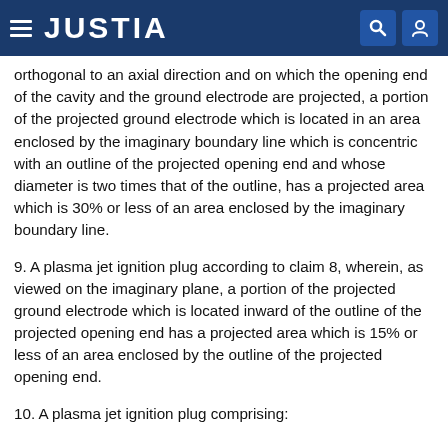JUSTIA
orthogonal to an axial direction and on which the opening end of the cavity and the ground electrode are projected, a portion of the projected ground electrode which is located in an area enclosed by the imaginary boundary line which is concentric with an outline of the projected opening end and whose diameter is two times that of the outline, has a projected area which is 30% or less of an area enclosed by the imaginary boundary line.
9. A plasma jet ignition plug according to claim 8, wherein, as viewed on the imaginary plane, a portion of the projected ground electrode which is located inward of the outline of the projected opening end has a projected area which is 15% or less of an area enclosed by the outline of the projected opening end.
10. A plasma jet ignition plug comprising: